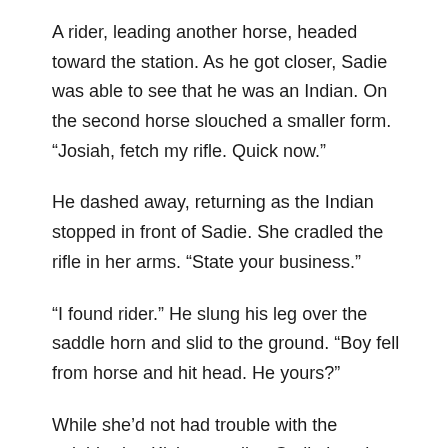A rider, leading another horse, headed toward the station. As he got closer, Sadie was able to see that he was an Indian. On the second horse slouched a smaller form. “Josiah, fetch my rifle. Quick now.”
He dashed away, returning as the Indian stopped in front of Sadie. She cradled the rifle in her arms. “State your business.”
“I found rider.” He slung his leg over the saddle horn and slid to the ground. “Boy fell from horse and hit head. He yours?”
While she’d not had trouble with the neighboring Kickapoo tribe, Sadie kept her distance and moved to the other side of the boy’s horse. The leather mochila draped over the horse’s flanks clued her in to the poor